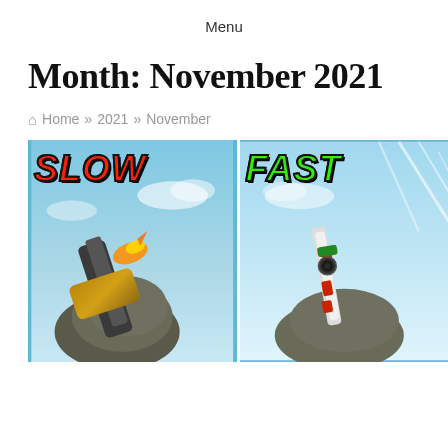Menu
Month: November 2021
🏠 Home » 2021 » November
[Figure (illustration): Side-by-side gaming thumbnail showing two first-person shooter views. Left half has red bold italic text 'SLOW' and shows a shotgun being held pointing up against a blue sky. Right half has green bold italic text 'FAST' and shows a red-and-white decorated sniper rifle being held against a blue sky with light rays.]